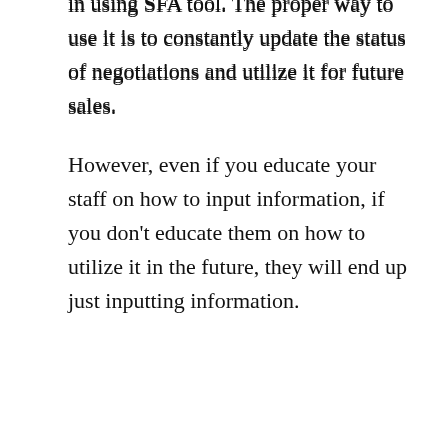in using SFA tool. The proper way to use it is to constantly update the status of negotiations and utilize it for future sales.
However, even if you educate your staff on how to input information, if you don't educate them on how to utilize it in the future, they will end up just inputting information.
In order to avoid such a mistake, it is important to explain the purpose of the SFA tool, how to operate it, and how to use it when implementing it.
Decide who will be in charge of operating the SFA tool